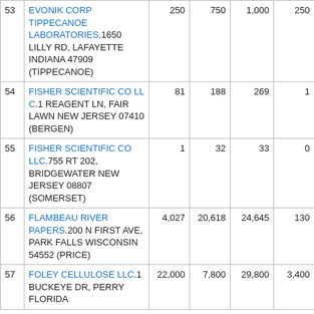| # | Facility Name & Address | Col3 | Col4 | Col5 | Col6 |
| --- | --- | --- | --- | --- | --- |
| 53 | EVONIK CORP TIPPECANOE LABORATORIES.1650 LILLY RD, LAFAYETTE INDIANA 47909 (TIPPECANOE) | 250 | 750 | 1,000 | 250 |
| 54 | FISHER SCIENTIFIC CO LL C.1 REAGENT LN, FAIR LAWN NEW JERSEY 07410 (BERGEN) | 81 | 188 | 269 | 1 |
| 55 | FISHER SCIENTIFIC CO LLC.755 RT 202, BRIDGEWATER NEW JERSEY 08807 (SOMERSET) | 1 | 32 | 33 | 0 |
| 56 | FLAMBEAU RIVER PAPERS.200 N FIRST AVE, PARK FALLS WISCONSIN 54552 (PRICE) | 4,027 | 20,618 | 24,645 | 130 |
| 57 | FOLEY CELLULOSE LLC.1 BUCKEYE DR, PERRY FLORIDA | 22,000 | 7,800 | 29,800 | 3,400 |